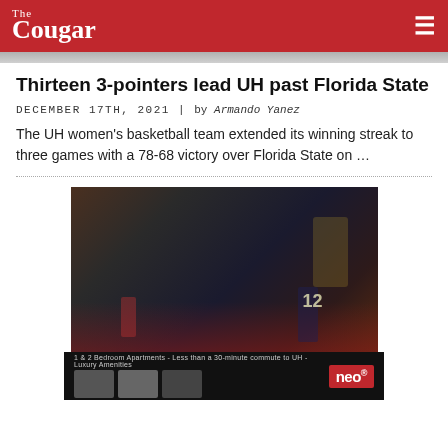The Cougar
[Figure (photo): Partial hero image of basketball game at top]
Thirteen 3-pointers lead UH past Florida State
December 17th, 2021 | by Armando Yanez
The UH women’s basketball team extended its winning streak to three games with a 78-68 victory over Florida State on …
[Figure (photo): Women’s basketball game photo showing players on court, player #12 in dark uniform visible]
[Figure (photo): NEO apartment advertisement banner at bottom]